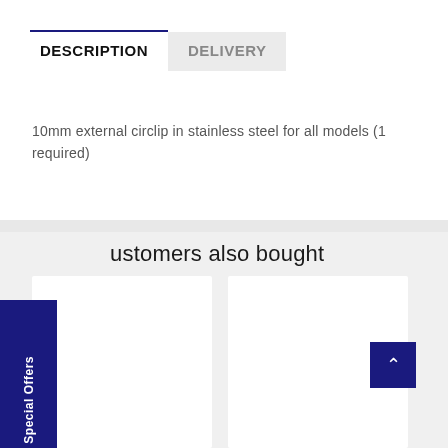DESCRIPTION
DELIVERY
10mm external circlip in stainless steel for all models (1 required)
ustomers also bought
[Figure (screenshot): Special Offers vertical sidebar tab on left side]
[Figure (screenshot): Back to top button (chevron up) in dark navy blue, bottom right]
[Figure (screenshot): Two white product card placeholders side by side]